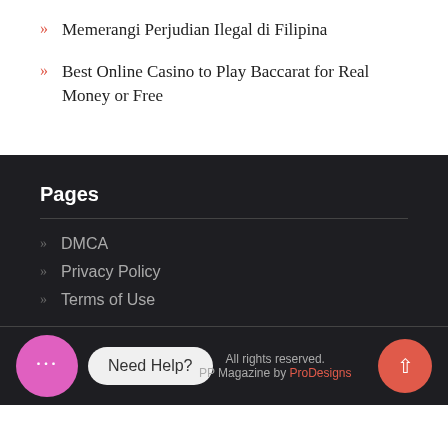» Memerangi Perjudian Ilegal di Filipina
» Best Online Casino to Play Baccarat for Real Money or Free
Pages
» DMCA
» Privacy Policy
» Terms of Use
All rights reserved. PP Magazine by ProDesigns